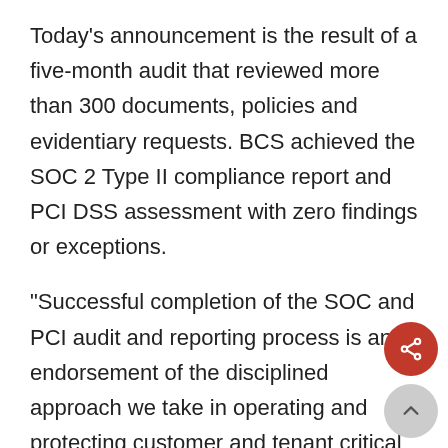Today’s announcement is the result of a five-month audit that reviewed more than 300 documents, policies and evidentiary requests. BCS achieved the SOC 2 Type II compliance report and PCI DSS assessment with zero findings or exceptions.
“Successful completion of the SOC and PCI audit and reporting process is an endorsement of the disciplined approach we take in operating and protecting customer and tenant critical infrastructure,” said BCS CEO Danny Crocker. “Our ability to execute and perform at the highest industry standards is a result of our self-performance model, an